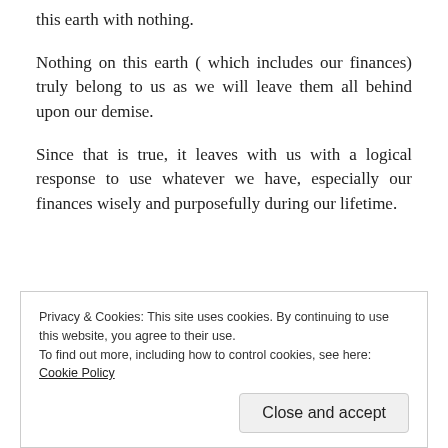this earth with nothing.
Nothing on this earth ( which includes our finances) truly belong to us as we will leave them all behind upon our demise.
Since that is true, it leaves with us with a logical response to use whatever we have, especially our finances wisely and purposefully during our lifetime.
REPORT THIS AD
Privacy & Cookies: This site uses cookies. By continuing to use this website, you agree to their use.
To find out more, including how to control cookies, see here: Cookie Policy
Close and accept